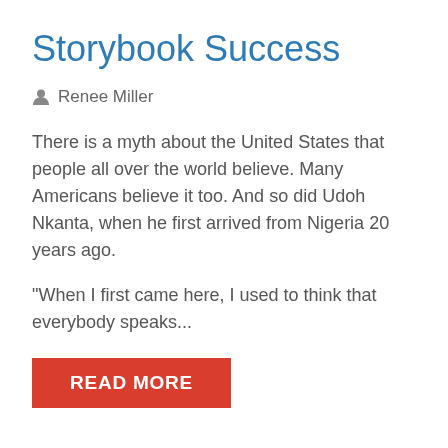Storybook Success
Renee Miller
There is a myth about the United States that people all over the world believe. Many Americans believe it too. And so did Udoh Nkanta, when he first arrived from Nigeria 20 years ago.
"When I first came here, I used to think that everybody speaks...
READ MORE
04/26/16
Money Smart Week